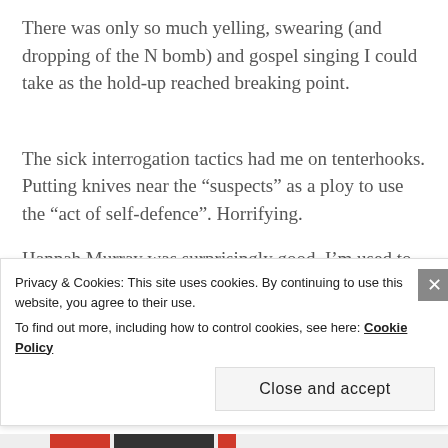There was only so much yelling, swearing (and dropping of the N bomb) and gospel singing I could take as the hold-up reached breaking point.
The sick interrogation tactics had me on tenterhooks. Putting knives near the “suspects” as a ploy to use the “act of self-defence”. Horrifying.
Hannah Murray was surprisingly good. I’m used to seeing her playing drugged up or gormless
Privacy & Cookies: This site uses cookies. By continuing to use this website, you agree to their use.
To find out more, including how to control cookies, see here: Cookie Policy